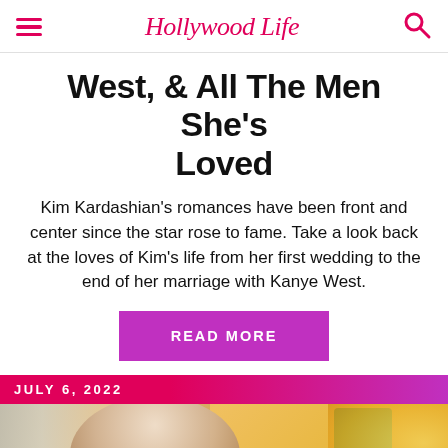HollywoodLife
West, & All The Men She's Loved
Kim Kardashian's romances have been front and center since the star rose to fame. Take a look back at the loves of Kim's life from her first wedding to the end of her marriage with Kanye West.
READ MORE
JULY 6, 2022
[Figure (photo): Blurred photo of a person wearing sunglasses with a colorful background]
[Figure (infographic): Advertisement banner: WE HELP CONTENT CREATORS GROW BUSINESSES THROUGH... SHE PARTNER NETWORK BECOME A MEMBER — LEARN MORE]